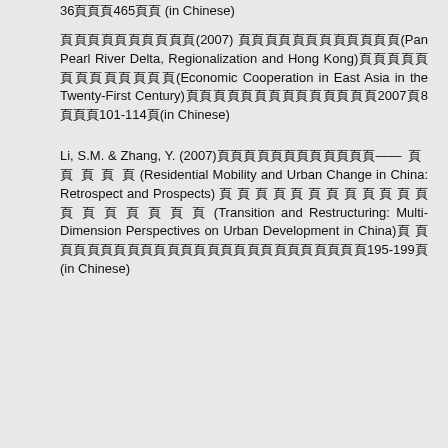36頁頁頁465頁頁 (in Chinese)
頁頁頁頁頁頁頁頁頁頁(2007) 頁頁頁頁頁頁頁頁頁頁頁頁(Pan Pearl River Delta, Regionalization and Hong Kong)頁頁頁頁頁頁頁頁頁頁頁頁頁(Economic Cooperation in East Asia in the Twenty-First Century)頁頁頁頁頁頁頁頁頁頁頁頁頁頁2007頁8頁頁頁101-114頁(in Chinese)
Li, S.M. & Zhang, Y. (2007)頁頁頁頁頁頁頁頁頁頁頁頁——頁頁頁頁頁頁 (Residential Mobility and Urban Change in China: Retrospect and Prospects) 頁頁頁頁頁頁頁頁頁頁頁頁頁頁頁頁頁頁頁(Transition and Restructuring: Multi-Dimension Perspectives on Urban Development in China)頁 頁頁頁頁頁頁頁頁頁頁頁頁頁頁頁頁頁頁頁頁頁頁頁195-199頁(in Chinese)